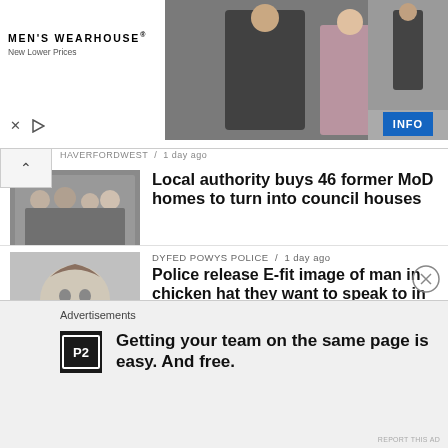[Figure (screenshot): Men's Wearhouse advertisement banner showing a couple in formal wear and a man in a suit, with INFO button]
HAVERFORDWEST / 1 day ago
Local authority buys 46 former MoD homes to turn into council houses
DYFED POWYS POLICE / 1 day ago
Police release E-fit image of man in chicken hat they want to speak to in festival rape investigation
SWANSEA / 2 days ago
Ashley's taking recovery step by step a year after leaving hospital
Advertisements
Getting your team on the same page is easy. And free.